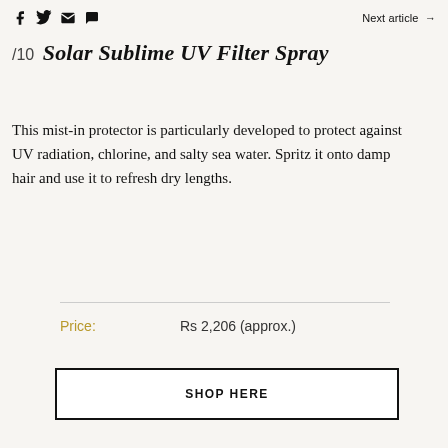f  🐦  ✉  ◎   Next article →
/10  Solar Sublime UV Filter Spray
This mist-in protector is particularly developed to protect against UV radiation, chlorine, and salty sea water. Spritz it onto damp hair and use it to refresh dry lengths.
Price:  Rs 2,206 (approx.)
SHOP HERE